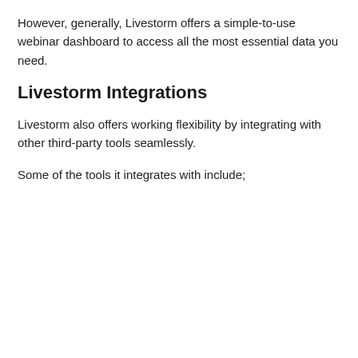However, generally, Livestorm offers a simple-to-use webinar dashboard to access all the most essential data you need.
Livestorm Integrations
Livestorm also offers working flexibility by integrating with other third-party tools seamlessly.
Some of the tools it integrates with include;